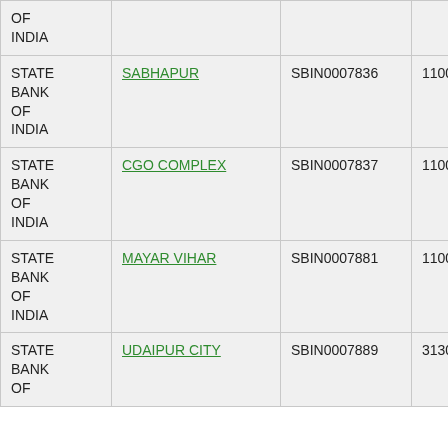| Bank | Branch | IFSC | MICR |
| --- | --- | --- | --- |
| STATE BANK OF INDIA |  |  |  |
| STATE BANK OF INDIA | SABHAPUR | SBIN0007836 | 110002170 |
| STATE BANK OF INDIA | CGO COMPLEX | SBIN0007837 | 110002131 |
| STATE BANK OF INDIA | MAYAR VIHAR | SBIN0007881 | 110002230 |
| STATE BANK OF INDIA | UDAIPUR CITY | SBIN0007889 | 313002005 |